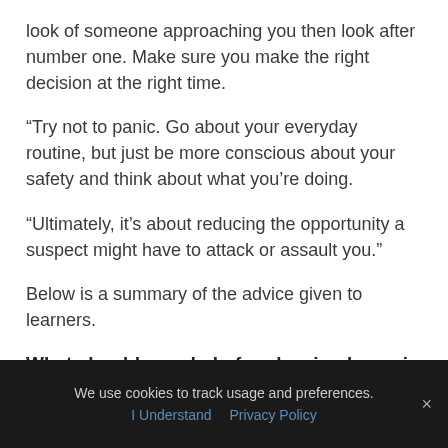look of someone approaching you then look after number one. Make sure you make the right decision at the right time.
“Try not to panic. Go about your everyday routine, but just be more conscious about your safety and think about what you’re doing.
“Ultimately, it’s about reducing the opportunity a suspect might have to attack or assault you.”
Below is a summary of the advice given to learners.
What should you do before leaving home in the morning?
We use cookies to track usage and preferences. | I Understand  Privacy Policy